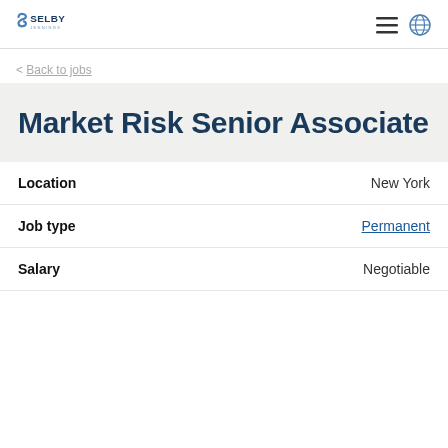Selby Jennings
< Back to jobs
Market Risk Senior Associate
| Field | Value |
| --- | --- |
| Location | New York |
| Job type | Permanent |
| Salary | Negotiable |